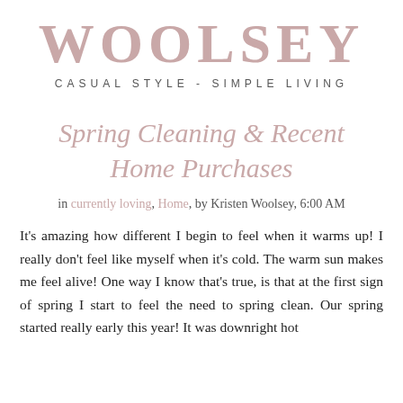WOOLSEY
CASUAL STYLE - SIMPLE LIVING
Spring Cleaning & Recent Home Purchases
in currently loving, Home, by Kristen Woolsey, 6:00 AM
It's amazing how different I begin to feel when it warms up! I really don't feel like myself when it's cold. The warm sun makes me feel alive! One way I know that's true, is that at the first sign of spring I start to feel the need to spring clean. Our spring started really early this year! It was downright hot